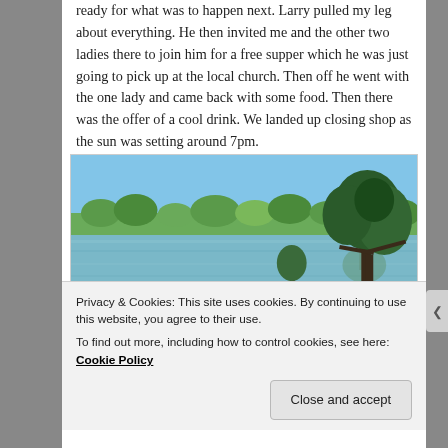ready for what was to happen next. Larry pulled my leg about everything. He then invited me and the other two ladies there to join him for a free supper which he was just going to pick up at the local church. Then off he went with the one lady and came back with some food. Then there was the offer of a cool drink. We landed up closing shop as the sun was setting around 7pm.
[Figure (photo): A scenic lake or river view with calm water reflecting the sky, green trees along the far bank, a large tree on the right side, and green grass in the foreground. Blue sky overhead.]
Privacy & Cookies: This site uses cookies. By continuing to use this website, you agree to their use.
To find out more, including how to control cookies, see here: Cookie Policy